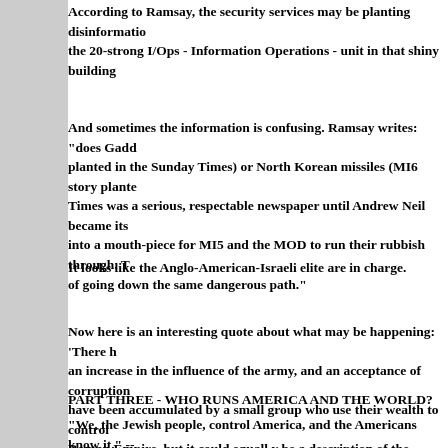According to Ramsay, the security services may be planting disinformatio... the 20-strong I/Ops - Information Operations - unit in that shiny building...
And sometimes the information is confusing. Ramsay writes: "does Gadd... planted in the Sunday Times) or North Korean missiles (MI6 story plante... Times was a serious, respectable newspaper until Andrew Neil became its... into a mouth-piece for MI5 and the MOD to run their rubbish through. T... of going down the same dangerous path."
It looks like the Anglo-American-Israeli elite are in charge.
Now here is an interesting quote about what may be happening: 'There h... an increase in the influence of the army, and an acceptance of corruption... have been accumulated by a small group who use their wealth to control ... Roman Empire, but it could equall y be a description of the present-day ... Soviet Empire. It is conspiracies from within, rather than conspiracies fr... collapse of empires.
PART THREE - WHO RUNS AMERICA AND THE WORLD?
"We, the Jewish people, control America, and the Americans know it." --... October 3, 2001, to Shimon Peres, as reported on Kol Yisrael radio.